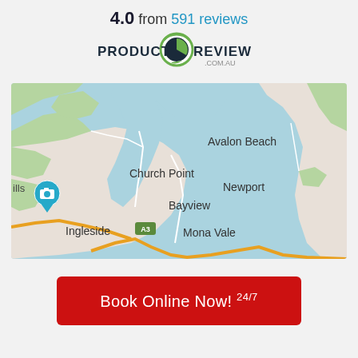4.0 from 591 reviews
[Figure (logo): ProductReview.com.au logo with speech bubble icon]
[Figure (map): Google Maps screenshot showing Church Point, Avalon Beach, Newport, Bayview, Ingleside, and Mona Vale areas in Sydney, Australia]
Book Online Now! 24/7